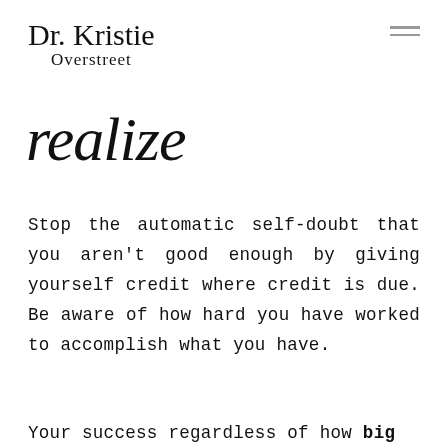Dr. Kristie Overstreet
realize
Stop the automatic self-doubt that you aren't good enough by giving yourself credit where credit is due. Be aware of how hard you have worked to accomplish what you have.
Your success regardless of how big